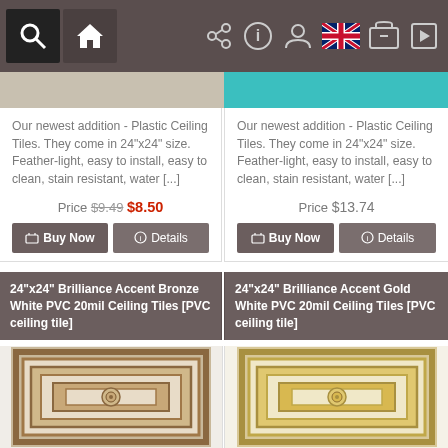Navigation bar with search, home, share, info, account, language, cart, play icons
[Figure (photo): Partial top image strip showing two product images cropped at top]
Our newest addition - Plastic Ceiling Tiles. They come in 24"x24" size. Feather-light, easy to install, easy to clean, stain resistant, water [...]
Our newest addition - Plastic Ceiling Tiles. They come in 24"x24" size. Feather-light, easy to install, easy to clean, stain resistant, water [...]
Price $9.49 $8.50
Price $13.74
24"x24" Brilliance Accent Bronze White PVC 20mil Ceiling Tiles [PVC ceiling tile]
24"x24" Brilliance Accent Gold White PVC 20mil Ceiling Tiles [PVC ceiling tile]
[Figure (photo): Bronze/white ornate PVC ceiling tile with concentric square pattern and central rosette medallion]
[Figure (photo): Gold/white ornate PVC ceiling tile with concentric square pattern and central rosette medallion]